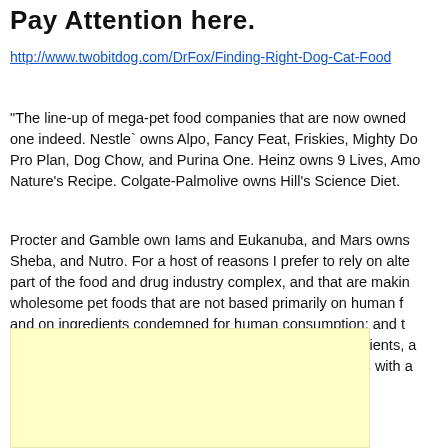Pay Attention here.
http://www.twobitdog.com/DrFox/Finding-Right-Dog-Cat-Food
“The line-up of mega-pet food companies that are now owned one indeed. Nestle` owns Alpo, Fancy Feat, Friskies, Mighty Do Pro Plan, Dog Chow, and Purina One. Heinz owns 9 Lives, Amo Nature’s Recipe. Colgate-Palmolive owns Hill’s Science Diet.
Procter and Gamble own Iams and Eukanuba, and Mars owns Sheba, and Nutro. For a host of reasons I prefer to rely on alte part of the food and drug industry complex, and that are makin wholesome pet foods that are not based primarily on human f and on ingredients condemned for human consumption; and t engineered), and ideally organically certified food ingredients, a humanely. It should be noted that I have no financial ties with a
[Figure (other): Light yellow advertisement block]